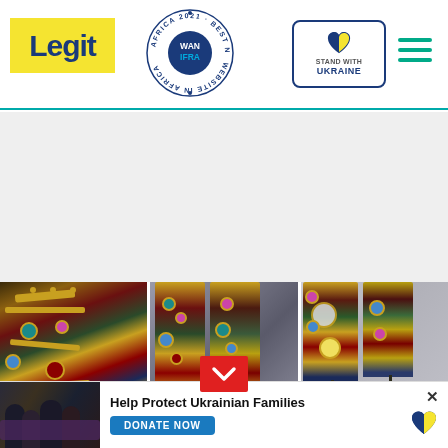Legit — Best News Website in Africa 2021 (WAN IFRA) — Stand with Ukraine
[Figure (photo): Advertisement banner area (blank white/gray space)]
[Figure (photo): Three side-by-side photos of ornate jeweled and embroidered high-heeled boots with colorful gemstones and gold detailing]
[Figure (infographic): Help Protect Ukrainian Families donation banner with Donate Now button and photo of people]